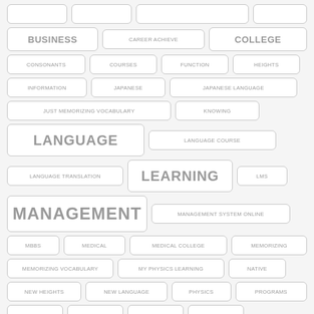[Figure (infographic): Tag cloud showing education-related keywords with varying font sizes indicating frequency/importance. Tags include: BUSINESS, CAREER ACHIEVE, COLLEGE, CONSONANTS, COURSES, FUNCTION, HEIGHTS, INFORMATION, JAPANESE, JAPANESE LANGUAGE, JUST MEMORIZING VOCABULARY, KNOWING, LANGUAGE, LANGUAGE COURSE, LANGUAGE TRANSLATION, LEARNING, LMS, MANAGEMENT, MANAGEMENT SYSTEM ONLINE, MBBS, MEDICAL, MEDICAL COLLEGE, MEMORIZING, MEMORIZING VOCABULARY, MY PHYSICS LEARNING, NATIVE, NEW HEIGHTS, NEW LANGUAGE, PHYSICS, PROGRAMS]